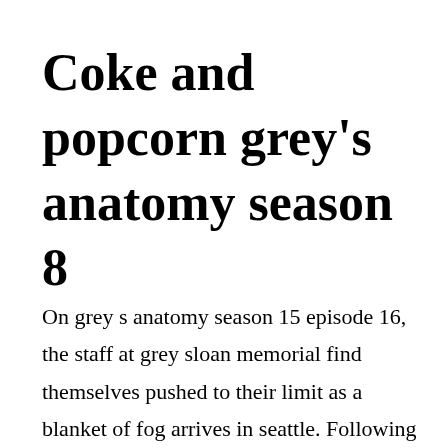Coke and popcorn grey's anatomy season 8
On grey s anatomy season 15 episode 16, the staff at grey sloan memorial find themselves pushed to their limit as a blanket of fog arrives in seattle. Following the storm, a mudslide watch grey s anatomy season 10